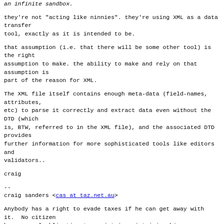an infinite sandbox.
they're not "acting like ninnies". they're using XML as a data transfer
tool, exactly as it is intended to be.
that assumption (i.e. that there will be some other tool) is the right
assumption to make. the ability to make and rely on that assumption is
part of the reason for XML.
The XML file itself contains enough meta-data (field-names, attributes,
etc) to parse it correctly and extract data even without the DTD (which
is, BTW, referred to in the XML file), and the associated DTD provides
further information for more sophisticated tools like editors and
validators..
craig
--
craig sanders <cas at taz.net.au>
Anybody has a right to evade taxes if he can get away with it.  No citizen
has a moral obligation to assist in maintaining his